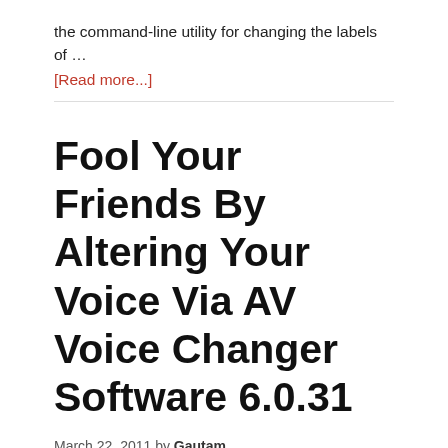the command-line utility for changing the labels of …
[Read more...]
Fool Your Friends By Altering Your Voice Via AV Voice Changer Software 6.0.31
March 22, 2011 by Gautam
Fool Your Friends By Altering Your Voice Via AV Voice Changer Software 6.0.31 AV Voice Changer Software is mainly used to manipulate or change your voice to special pitch and tones for some reasons. You can make